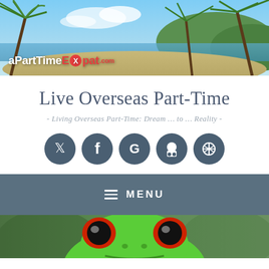[Figure (photo): Hero banner photo of a tropical beach scene with tall palm trees, blue sky with clouds, and a green hillside in the background. The aPartTimeExpat logo is overlaid on the lower left portion of the image.]
Live Overseas Part-Time
- Living Overseas Part-Time: Dream … to … Reality -
[Figure (infographic): Row of five dark blue-gray circular social media icon buttons: Twitter, Facebook, Google, GitHub, and WordPress]
MENU
[Figure (photo): Close-up photo of a red-eyed tree frog with bright green skin and large orange-red eyes, partially visible at the bottom of the page]